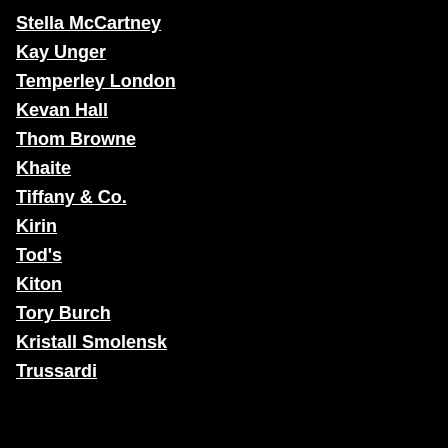Stella McCartney
Kay Unger
Temperley London
Kevan Hall
Thom Browne
Khaite
Tiffany & Co.
Kirin
Tod's
Kiton
Tory Burch
Kristall Smolensk
Trussardi